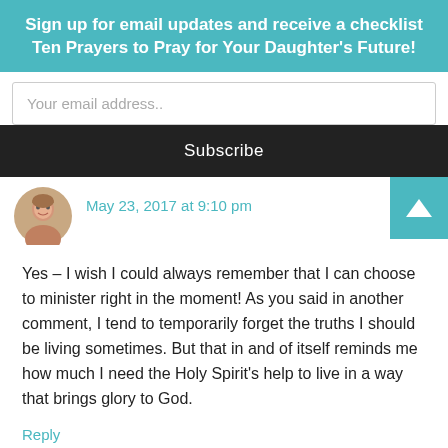Sign up for email updates and receive a checklist Ten Prayers to Pray for Your Daughter's Future!
Your email address..
Subscribe
May 23, 2017 at 9:10 pm
Yes – I wish I could always remember that I can choose to minister right in the moment! As you said in another comment, I tend to temporarily forget the truths I should be living sometimes. But that in and of itself reminds me how much I need the Holy Spirit's help to live in a way that brings glory to God.
Reply